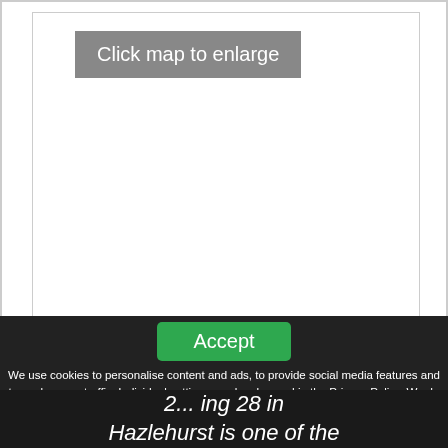[Figure (screenshot): A map area with a grey 'Click map to enlarge' button overlay at the top left. The map area is mostly white/blank in this view.]
Accept
We use cookies to personalise content and ads, to provide social media features and to analyse our traffic. Individual settings can be changed in the Privacy Policy. We do not support the Do Not Track browser option (CalOPPA). Further Information
2... ing 28 in Hazlehurst is one of the